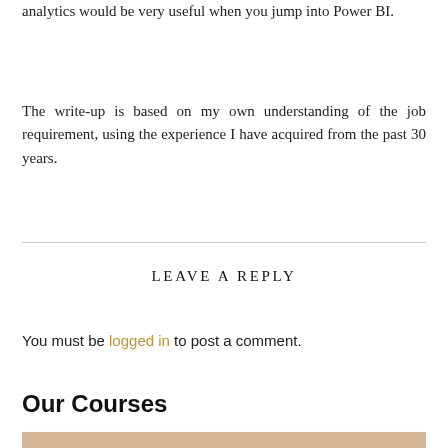analytics would be very useful when you jump into Power BI.
The write-up is based on my own understanding of the job requirement, using the experience I have acquired from the past 30 years.
LEAVE A REPLY
You must be logged in to post a comment.
Our Courses